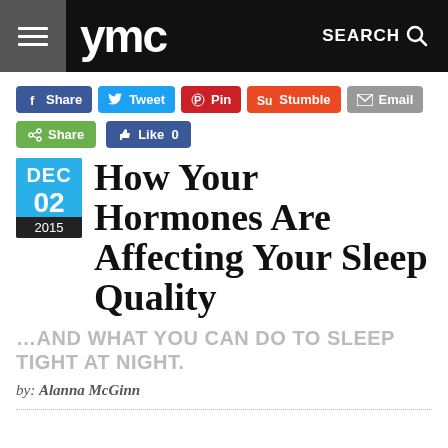ymc   SEARCH
[Figure (screenshot): Social sharing buttons: Share (Facebook), Tweet (Twitter), Pin (Pinterest), Stumble (StumbleUpon), Email, Share (green), Like 0 (Facebook)]
How Your Hormones Are Affecting Your Sleep Quality
...AND WHAT YOU CAN DO TO SLEEP TIGHT AT NIGHT.
by: Alanna McGinn